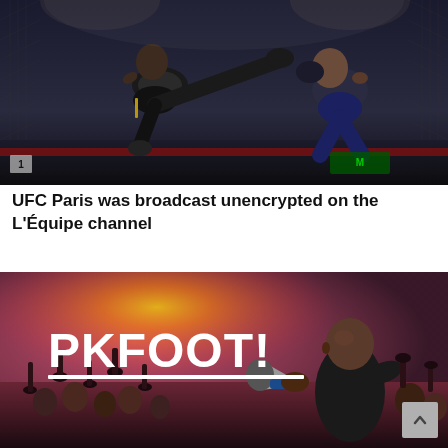[Figure (photo): Two MMA fighters in a UFC octagon — one fighter delivering a flying knee or kick, the other defending. Dark arena lighting with cage fencing visible in the background. Monster Energy branding visible on the mat.]
UFC Paris was broadcast unencrypted on the L'Équipe channel
[Figure (photo): A crowd of football fans with hands raised, red/pink smoke flares in the background. A man holding a megaphone in the foreground. The 'PKFOOT!' logo is overlaid in large white text with a white underline.]